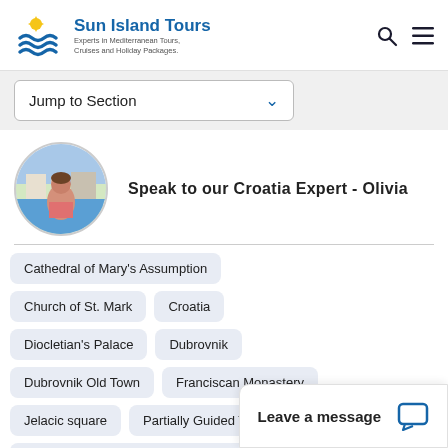Sun Island Tours — Experts in Mediterranean Tours, Cruises and Holiday Packages.
Jump to Section
[Figure (photo): Round profile photo of Olivia, Sun Island Tours Croatia Expert, standing on a waterfront with a Mediterranean coastal town in the background.]
Speak to our Croatia Expert - Olivia
Cathedral of Mary's Assumption
Church of St. Mark
Croatia
Diocletian's Palace
Dubrovnik
Dubrovnik Old Town
Franciscan Monastery
Jelacic square
Partially Guided Tours
Pharmacy of the Franciscan Monastery
Plitvice
Plitvice
Leave a message